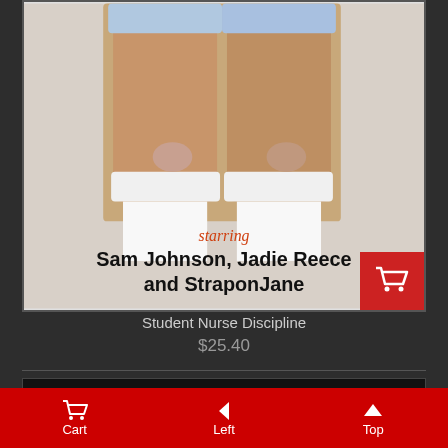[Figure (photo): Product cover image for 'Student Nurse Discipline' showing two figures from behind wearing white stockings, with text 'starring Sam Johnson, Jadie Reece and StraponJane'. Red cart button in bottom right corner of image.]
Student Nurse Discipline
$25.40
[Figure (photo): Partial view of next product card showing 'KOUE Production presents' and 'The Punishment of' in teal/cyan bold text on dark background.]
Cart   Left   Top